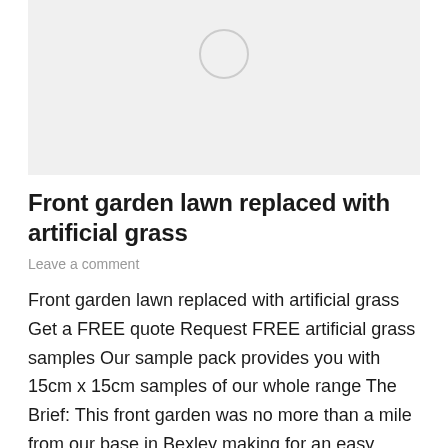[Figure (photo): Image placeholder with a light gray background and a small circle outline centered near the top, indicating an unloaded or placeholder image.]
Front garden lawn replaced with artificial grass
Leave a comment
Front garden lawn replaced with artificial grass Get a FREE quote Request FREE artificial grass samples Our sample pack provides you with 15cm x 15cm samples of our whole range The Brief: This front garden was no more than a mile from our base in Bexley making for an easy commute! Our